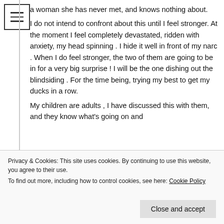[Figure (other): Hamburger menu icon — three horizontal lines inside a square border]
a woman she has never met, and knows nothing about. I do not intend to confront about this until I feel stronger. At the moment I feel completely devastated, ridden with anxiety, my head spinning . I hide it well in front of my narc . When I do feel stronger, the two of them are going to be in for a very big surprise ! I will be the one dishing out the blindsiding . For the time being, trying my best to get my ducks in a row. My children are adults , I have discussed this with them, and they know what's going on and
Privacy & Cookies: This site uses cookies. By continuing to use this website, you agree to their use.
To find out more, including how to control cookies, see here: Cookie Policy
Close and accept